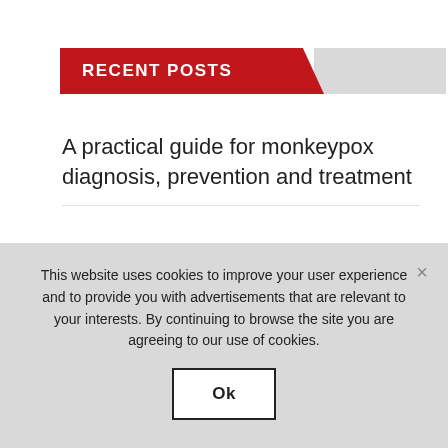RECENT POSTS
A practical guide for monkeypox diagnosis, prevention and treatment
Myocarditis risk greater after SARS-CoV-2 infection than after first dose of COVID-19 vaccine
This website uses cookies to improve your user experience and to provide you with advertisements that are relevant to your interests. By continuing to browse the site you are agreeing to our use of cookies.
Ok